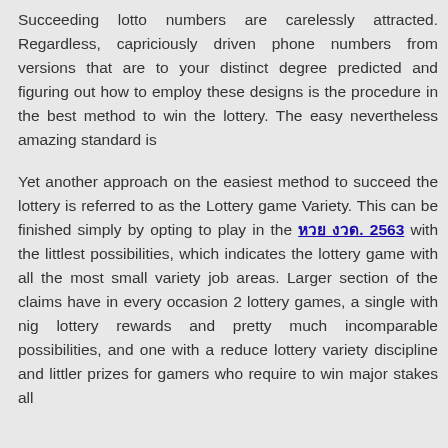Succeeding lotto numbers are carelessly attracted. Regardless, capriciously driven phone numbers from versions that are to your distinct degree predicted and figuring out how to employ these designs is the procedure in the best method to win the lottery. The easy nevertheless amazing standard is
Yet another approach on the easiest method to succeed the lottery is referred to as the Lottery game Variety. This can be finished simply by opting to play in the หวย งวด. 2563 with the littlest possibilities, which indicates the lottery game with all the most small variety job areas. Larger section of the claims have in every occasion 2 lottery games, a single with nig lottery rewards and pretty much incomparable possibilities, and one with a reduce lottery variety discipline and littler prizes for gamers who require to win major stakes all